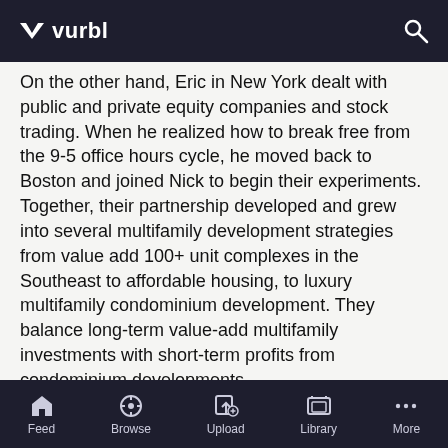vurbl
On the other hand, Eric in New York dealt with public and private equity companies and stock trading. When he realized how to break free from the 9-5 office hours cycle, he moved back to Boston and joined Nick to begin their experiments. Together, their partnership developed and grew into several multifamily development strategies from value add 100+ unit complexes in the Southeast to affordable housing, to luxury multifamily condominium development. They balance long-term value-add multifamily investments with short-term profits from condominium developments. In this episode, Nick and Eric are going to walk us through their experience from condo development, dealing with the neighborhood, their pushbacks along the way, and how they've created a very niched strategy that most investors shy away from. If you're the type of person that enjoys going left when
Feed  Browse  Upload  Library  More